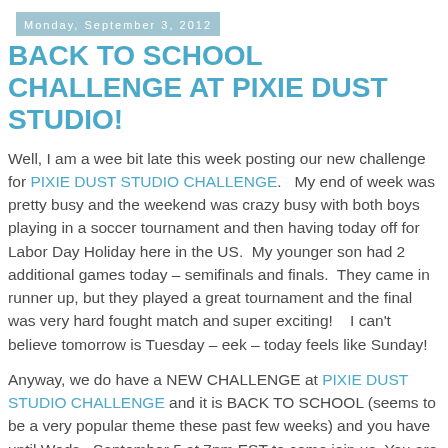Monday, September 3, 2012
BACK TO SCHOOL CHALLENGE AT PIXIE DUST STUDIO!
Well, I am a wee bit late this week posting our new challenge for PIXIE DUST STUDIO CHALLENGE.   My end of week was pretty busy and the weekend was crazy busy with both boys playing in a soccer tournament and then having today off for Labor Day Holiday here in the US.  My younger son had 2 additional games today – semifinals and finals.  They came in runner up, but they played a great tournament and the final was very hard fought match and super exciting!    I can't believe tomorrow is Tuesday – eek – today feels like Sunday!
Anyway, we do have a NEW CHALLENGE at PIXIE DUST STUDIO CHALLENGE and it is BACK TO SCHOOL (seems to be a very popular theme these past few weeks) and you have until Weds., September 5 at 7pm EST to come join us. You are not required to use an image from PIXIE DUST STUDIO SHOP, but we'd sure LOVE to see one!!